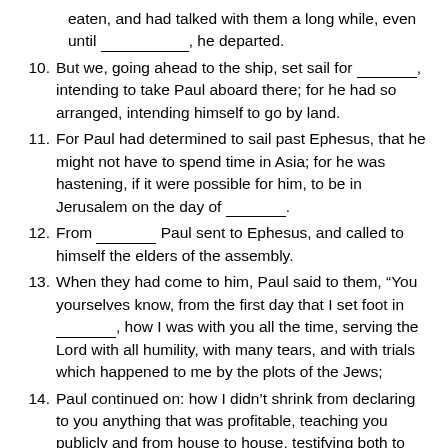(continuation) eaten, and had talked with them a long while, even until ___________, he departed.
10. But we, going ahead to the ship, set sail for ______, intending to take Paul aboard there; for he had so arranged, intending himself to go by land.
11. For Paul had determined to sail past Ephesus, that he might not have to spend time in Asia; for he was hastening, if it were possible for him, to be in Jerusalem on the day of ______.
12. From ______ Paul sent to Ephesus, and called to himself the elders of the assembly.
13. When they had come to him, Paul said to them, “You yourselves know, from the first day that I set foot in ______, how I was with you all the time, serving the Lord with all humility, with many tears, and with trials which happened to me by the plots of the Jews;
14. Paul continued on: how I didn’t shrink from declaring to you anything that was profitable, teaching you publicly and from house to house, testifying both to Jews and to ______ repentance toward God, and faith toward our Lord Jesus.
15. Paul said: “Now, behold, I go bound by the Spirit to ______, not knowing what will happen to me there; 23 except that the Holy Spirit testifies in every city, saying